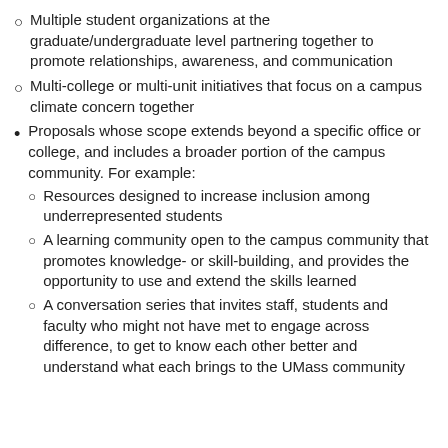Multiple student organizations at the graduate/undergraduate level partnering together to promote relationships, awareness, and communication
Multi-college or multi-unit initiatives that focus on a campus climate concern together
Proposals whose scope extends beyond a specific office or college, and includes a broader portion of the campus community. For example:
Resources designed to increase inclusion among underrepresented students
A learning community open to the campus community that promotes knowledge- or skill-building, and provides the opportunity to use and extend the skills learned
A conversation series that invites staff, students and faculty who might not have met to engage across difference, to get to know each other better and understand what each brings to the UMass community